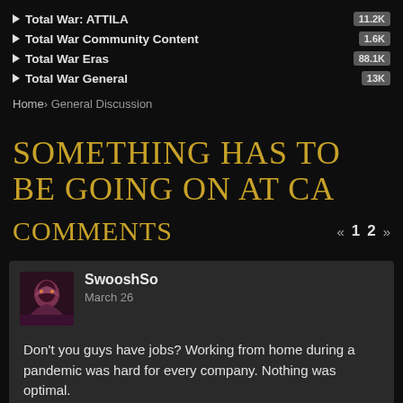Total War: ATTILA 11.2K
Total War Community Content 1.6K
Total War Eras 88.1K
Total War General 13K
Home › General Discussion
SOMETHING HAS TO BE GOING ON AT CA
COMMENTS
« 1 2 »
SwooshSo
March 26
Don't you guys have jobs? Working from home during a pandemic was hard for every company. Nothing was optimal.